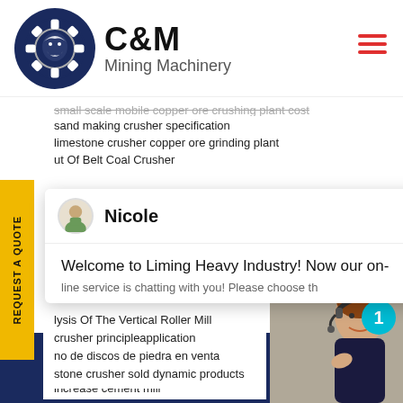[Figure (logo): C&M Mining Machinery logo with eagle in gear circle, dark navy blue]
small scale mobile copper ore crushing plant cost
sand making crusher specification
limestone crusher copper ore grinding plant
ut Of Belt Coal Crusher
[Figure (screenshot): Chat popup from Nicole - Welcome to Liming Heavy Industry! Now our on-line service is chatting with you! Please choose th...]
increase cement mill
lysis Of The Vertical Roller Mill Equipment
crusher principleapplication
no de discos de piedra en venta piedra
stone crusher sold dynamic products
Click to Chat
Enquiry